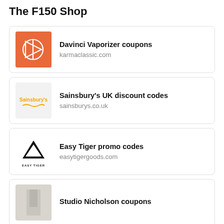The F150 Shop
Davinci Vaporizer coupons
karmaclassic.com
Sainsbury's UK discount codes
sainsburys.co.uk
Easy Tiger promo codes
easytigergoods.com
Studio Nicholson coupons